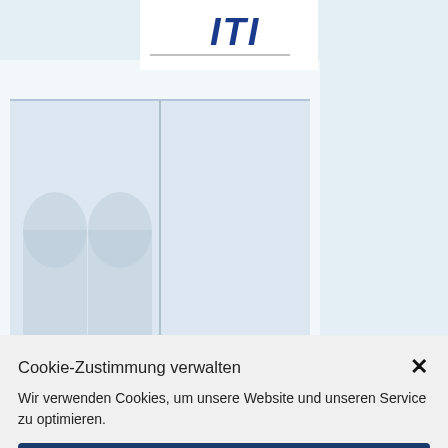[Figure (illustration): Website background showing ITI logo and building illustration in light blue/grey tones]
Cookie-Zustimmung verwalten
Wir verwenden Cookies, um unsere Website und unseren Service zu optimieren.
Cookies akzeptieren
Ablehnen
Einstellungen anzeigen
Privacy Policy  Privacy Policy  Legal Notice